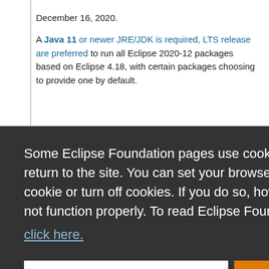December 16, 2020.
A Java 11 or newer JRE/JDK is required, LTS release are preferred to run all Eclipse 2020-12 packages based on Eclipse 4.18, with certain packages choosing to provide one by default.
Some Eclipse Foundation pages use cookies to better serve you when you return to the site. You can set your browser to notify you before you receive a cookie or turn off cookies. If you do so, however, some areas of some sites may not function properly. To read Eclipse Foundation Privacy Policy click here.
based on Eclipse 4.16, as well as the Installer.